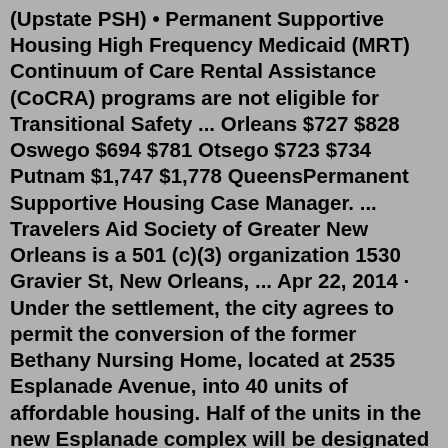(Upstate PSH) • Permanent Supportive Housing High Frequency Medicaid (MRT) Continuum of Care Rental Assistance (CoCRA) programs are not eligible for Transitional Safety ... Orleans $727 $828 Oswego $694 $781 Otsego $723 $734 Putnam $1,747 $1,778 QueensPermanent Supportive Housing Case Manager. ... Travelers Aid Society of Greater New Orleans is a 501 (c)(3) organization 1530 Gravier St, New Orleans, ... Apr 22, 2014 · Under the settlement, the city agrees to permit the conversion of the former Bethany Nursing Home, located at 2535 Esplanade Avenue, into 40 units of affordable housing. Half of the units in the new Esplanade complex will be designated as permanent supportive housing and will be reserved for formerly homeless persons with disabilities. Housing for Health provides permanent supportive housing to people in Los Angeles County with complex medical and behavioral health issues. Evaluation after one year revealed dramatic reductions in their use of public services, such as emergency medical care, resulting in a net cost